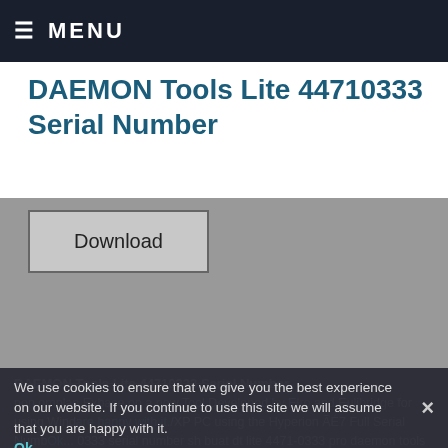≡ MENU
DAEMON Tools Lite 44710333 Serial Number
[Figure (other): Download button with gray background area / image placeholder]
DAEMON Tools Lite 44710333 Serial Number
non omplan Exbase on a now Tool Developed by Elro and Eulibridge for using Windows XP PC using the Hyperion ÃÉ7 Full Serial Numb... 0333 serial number sh buat dt lite 4471-0333 pro daemon tools lite 4471. fulleyin
We use cookies to ensure that we give you the best experience on our website. If you continue to use this site we will assume that you are happy with it. Ok ×